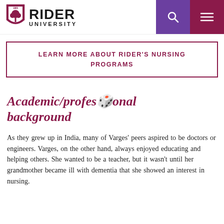[Figure (logo): Rider University logo with shield crest showing tree and 1865, with RIDER UNIVERSITY text]
Academic/professional background
LEARN MORE ABOUT RIDER'S NURSING PROGRAMS
As they grew up in India, many of Varges' peers aspired to be doctors or engineers. Varges, on the other hand, always enjoyed educating and helping others. She wanted to be a teacher, but it wasn't until her grandmother became ill with dementia that she showed an interest in nursing.